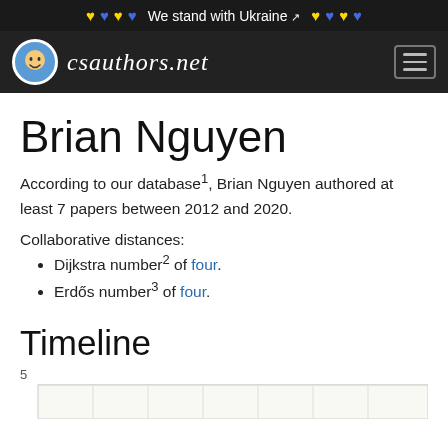🤍💙🤍💙 We stand with Ukraine 🤍💙🤍💙
[Figure (logo): csauthors.net logo with smiley face circle icon and site name in script font]
Brian Nguyen
According to our database¹, Brian Nguyen authored at least 7 papers between 2012 and 2020.
Collaborative distances:
Dijkstra number² of four.
Erdős number³ of four.
Timeline
[Figure (bar-chart): Partial bar chart showing timeline of publications, y-axis shows value 5 at top, chart area visible at bottom of page]